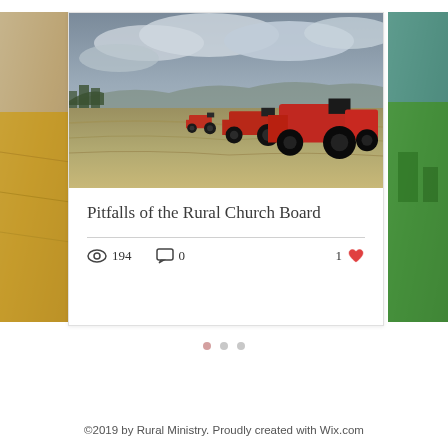[Figure (photo): Partial view of rural landscape with golden fields on the left edge]
[Figure (photo): Farm scene with red tractors harvesting hay in an open field under cloudy sky]
[Figure (photo): Partial view of green rural landscape on the right edge]
Pitfalls of the Rural Church Board
194 views  0 comments  1 like
©2019 by Rural Ministry. Proudly created with Wix.com